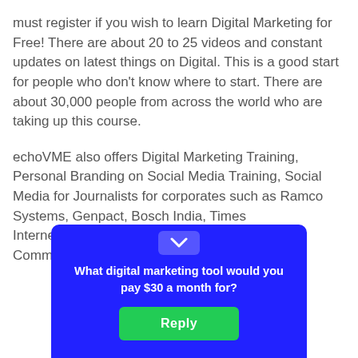must register if you wish to learn Digital Marketing for Free! There are about 20 to 25 videos and constant updates on latest things on Digital. This is a good start for people who don't know where to start. There are about 30,000 people from across the world who are taking up this course.
echoVME also offers Digital Marketing Training, Personal Branding on Social Media Training, Social Media for Journalists for corporates such as Ramco Systems, Genpact, Bosch India, Times Internet …Mudra, Commu… E Connec…
[Figure (other): A blue popup/modal overlay with a chevron collapse button at top, bold white text asking 'What digital marketing tool would you pay $30 a month for?' and a green Reply button.]